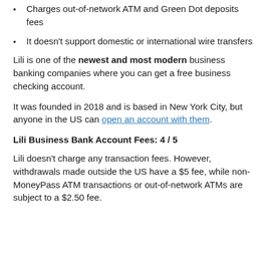Charges out-of-network ATM and Green Dot deposits fees
It doesn't support domestic or international wire transfers
Lili is one of the newest and most modern business banking companies where you can get a free business checking account.
It was founded in 2018 and is based in New York City, but anyone in the US can open an account with them.
Lili Business Bank Account Fees: 4 / 5
Lili doesn't charge any transaction fees. However, withdrawals made outside the US have a $5 fee, while non-MoneyPass ATM transactions or out-of-network ATMs are subject to a $2.50 fee.